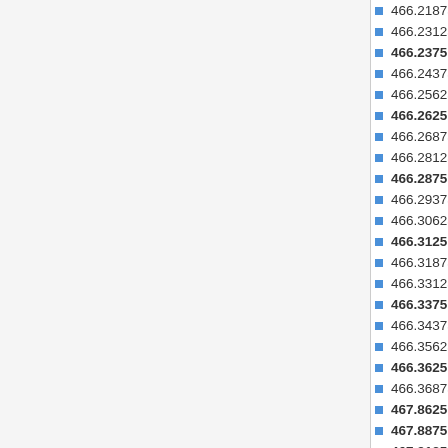466.21875 MHz
466.23125 MHz
466.2375 MHz
466.24375 MHz
466.25625 MHz
466.2625 MHz
466.26875 MHz
466.28125 MHz
466.2875 MHz
466.29375 MHz
466.30625 MHz
466.3125 MHz
466.31875 MHz
466.33125 MHz
466.3375 MHz
466.34375 MHz
466.35625 MHz
466.3625 MHz
466.36875 MHz
467.8625 MHz
467.8875 MHz
467.9125 MHz
467.4875 MHz